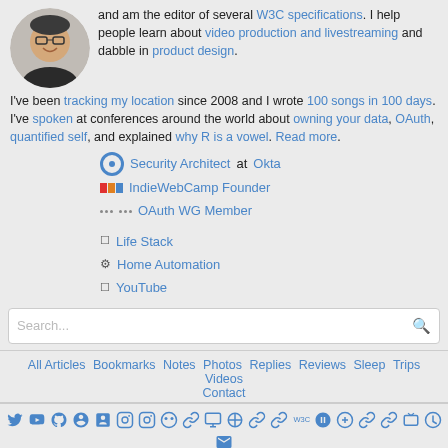[Figure (photo): Circular avatar photo of a smiling man with glasses]
and am the editor of several W3C specifications. I help people learn about video production and livestreaming and dabble in product design.
I've been tracking my location since 2008 and I wrote 100 songs in 100 days. I've spoken at conferences around the world about owning your data, OAuth, quantified self, and explained why R is a vowel. Read more.
Security Architect at Okta
IndieWebCamp Founder
OAuth WG Member
Life Stack
Home Automation
YouTube
Search...
All Articles  Bookmarks  Notes  Photos  Replies  Reviews  Sleep  Trips  Videos  Contact
[Figure (infographic): Row of social media icons: Twitter, YouTube, GitHub, Foursquare, LinkedIn, Instagram, Instagram, Flickr, link, computer, last.fm, link, link, W3C, WeChat, link, link, link, Cash App, Venmo, PayPal, email]